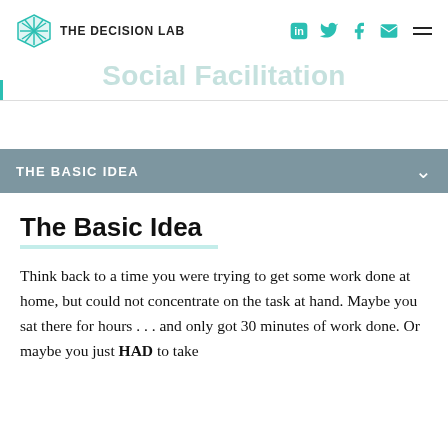THE DECISION LAB
Social Facilitation
THE BASIC IDEA
The Basic Idea
Think back to a time you were trying to get some work done at home, but could not concentrate on the task at hand. Maybe you sat there for hours . . . and only got 30 minutes of work done. Or maybe you just HAD to take